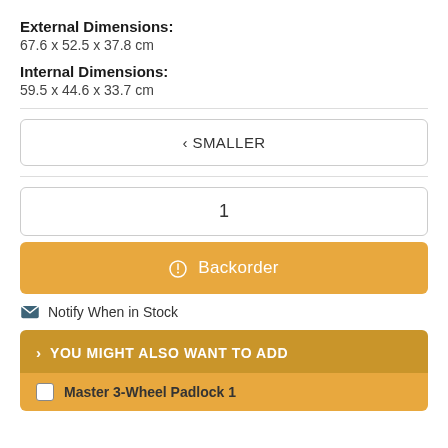External Dimensions:
67.6 x 52.5 x 37.8 cm
Internal Dimensions:
59.5 x 44.6 x 33.7 cm
‹ SMALLER
1
⊙ Backorder
✉ Notify When in Stock
› YOU MIGHT ALSO WANT TO ADD
Master 3-Wheel Padlock 1